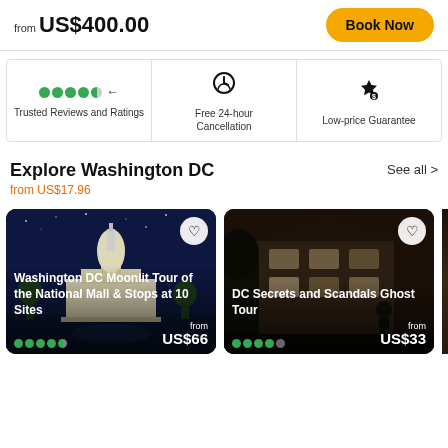from US$400.00
Book Now
Trusted Reviews and Ratings
Free 24-hour Cancellation
Low-price Guarantee
Explore Washington DC
from US$17.96
See all >
[Figure (photo): Washington DC Moonlit Tour of the National Mall & Stops at 10 Sites - from US$66]
[Figure (photo): DC Secrets and Scandals Ghost Tour - from US$33]